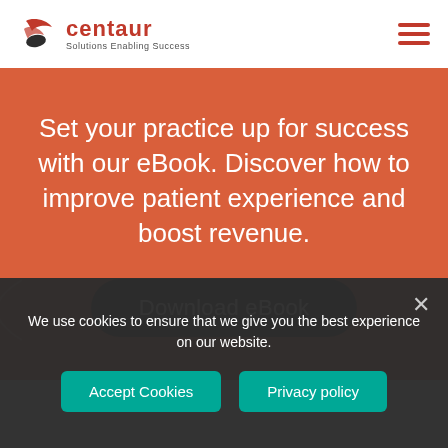[Figure (logo): Centaur Solutions Enabling Success logo with red bird/leaf icon and red text]
Set your practice up for success with our eBook. Discover how to improve patient experience and boost revenue.
Download eBook
[Figure (illustration): Orange rounded card at bottom, partially visible]
We use cookies to ensure that we give you the best experience on our website.
Accept Cookies
Privacy policy